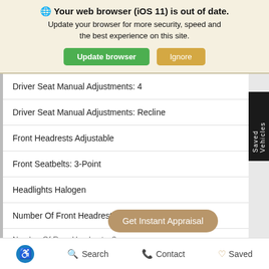🌐 Your web browser (iOS 11) is out of date. Update your browser for more security, speed and the best experience on this site. [Update browser] [Ignore]
Driver Seat Manual Adjustments: 4
Driver Seat Manual Adjustments: Recline
Front Headrests Adjustable
Front Seatbelts: 3-Point
Headlights Halogen
Number Of Front Headrests
Number Of Rear Headrests: 3
Get Instant Appraisal
🔵 Search  Contact  Saved